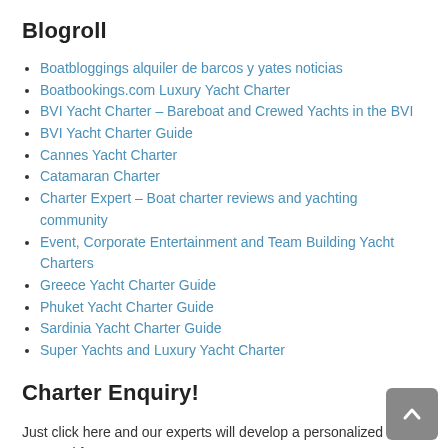Blogroll
Boatbloggings alquiler de barcos y yates noticias
Boatbookings.com Luxury Yacht Charter
BVI Yacht Charter – Bareboat and Crewed Yachts in the BVI
BVI Yacht Charter Guide
Cannes Yacht Charter
Catamaran Charter
Charter Expert – Boat charter reviews and yachting community
Event, Corporate Entertainment and Team Building Yacht Charters
Greece Yacht Charter Guide
Phuket Yacht Charter Guide
Sardinia Yacht Charter Guide
Super Yachts and Luxury Yacht Charter
Charter Enquiry!
Just click here and our experts will develop a personalized proposal for you.